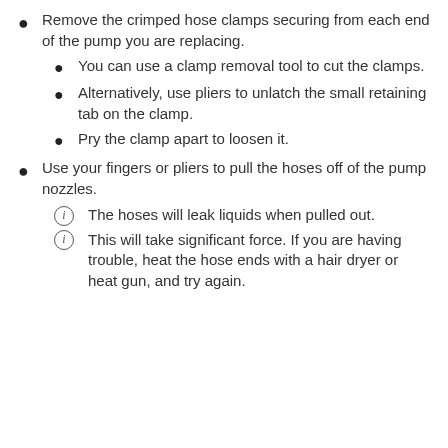Remove the crimped hose clamps securing from each end of the pump you are replacing.
You can use a clamp removal tool to cut the clamps.
Alternatively, use pliers to unlatch the small retaining tab on the clamp.
Pry the clamp apart to loosen it.
Use your fingers or pliers to pull the hoses off of the pump nozzles.
The hoses will leak liquids when pulled out.
This will take significant force. If you are having trouble, heat the hose ends with a hair dryer or heat gun, and try again.